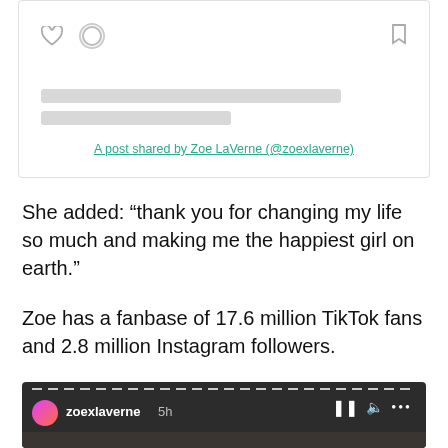[Figure (screenshot): Instagram embed card with skeleton loading bars and a link 'A post shared by Zoe LaVerne (@zoexlaverne)']
She added: “thank you for changing my life so much and making me the happiest girl on earth.”
Zoe has a fanbase of 17.6 million TikTok fans and 2.8 million Instagram followers.
[Figure (screenshot): TikTok video embed showing username 'zoexlaverne', timestamp '5h', and playback controls (pause, volume, more options)]